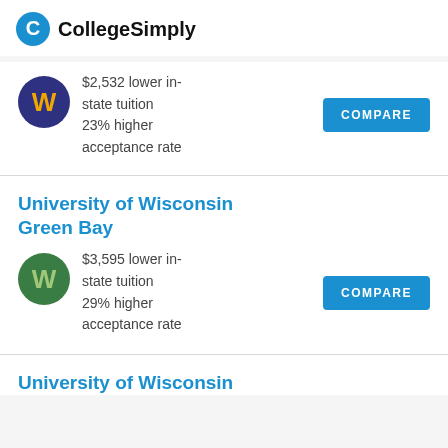CollegeSimply
$2,532 lower in-state tuition
23% higher acceptance rate
COMPARE
University of Wisconsin Green Bay
$3,595 lower in-state tuition
29% higher acceptance rate
COMPARE
University of Wisconsin